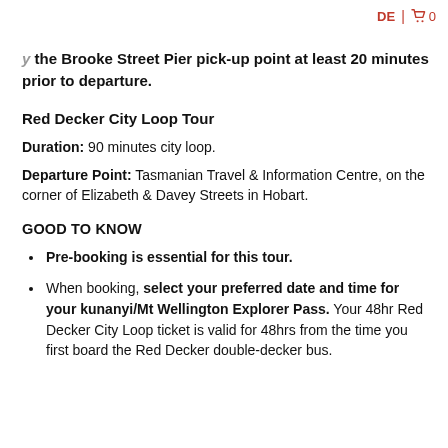DE | cart 0
the Brooke Street Pier pick-up point at least 20 minutes prior to departure.
Red Decker City Loop Tour
Duration: 90 minutes city loop.
Departure Point: Tasmanian Travel & Information Centre, on the corner of Elizabeth & Davey Streets in Hobart.
GOOD TO KNOW
Pre-booking is essential for this tour.
When booking, select your preferred date and time for your kunanyi/Mt Wellington Explorer Pass. Your 48hr Red Decker City Loop ticket is valid for 48hrs from the time you first board the Red Decker double-decker bus.